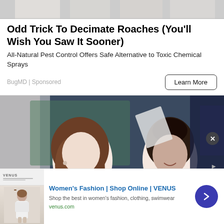[Figure (photo): Partial image of product boxes at top of page, cropped]
Odd Trick To Decimate Roaches (You'll Wish You Saw It Sooner)
All-Natural Pest Control Offers Safe Alternative to Toxic Chemical Sprays
BugMD | Sponsored
[Figure (photo): Two women seated at what appears to be a sporting event (Wimbledon). Left woman wears a green outfit with gold buttons and has long brown hair. Right woman wears white and has dark hair in a bun. Other spectators visible in background.]
[Figure (screenshot): Bottom advertisement bar for VENUS women's fashion. Shows thumbnail of Venus website and a fashion model. Text reads: Women's Fashion | Shop Online | VENUS. Shop the best in women's fashion, clothing, swimwear. venus.com]
Women's Fashion | Shop Online | VENUS
Shop the best in women's fashion, clothing, swimwear
venus.com